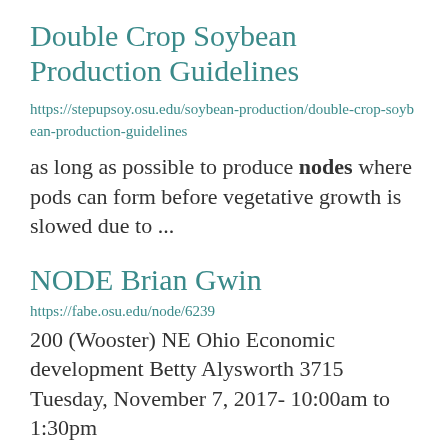Double Crop Soybean Production Guidelines
https://stepupsoy.osu.edu/soybean-production/double-crop-soybean-production-guidelines
as long as possible to produce nodes where pods can form before vegetative growth is slowed due to ...
NODE Brian Gwin
https://fabe.osu.edu/node/6239
200 (Wooster) NE Ohio Economic development Betty Alysworth 3715 Tuesday, November 7, 2017- 10:00am to 1:30pm